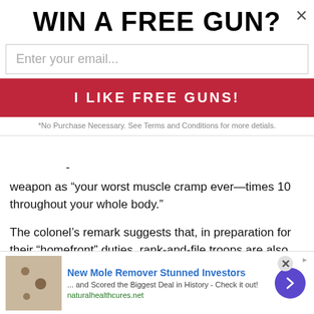WIN A FREE GUN?
Enter your email...
I LIKE FREE GUNS!
*No Purchase Necessary. See Terms and Conditions for more detials.
weapon as “your worst muscle cramp ever—times 10 throughout your whole body.”
The colonel’s remark suggests that, in preparation for their “homefront” duties, rank-and-file troops are also being routinely Tasered. The brutalizing effect and intent of such a macabre training exercise is to inure troops against sympathy for the pain and suffering they may be called upon to inflict on the civilian population using these same “non-lethal” weapons
[Figure (infographic): Bottom advertisement: mole remover ad with skin photo, headline 'New Mole Remover Stunned Investors', subtext '... and Scored the Biggest Deal in History - Check it out!', URL naturalhealthcures.net, purple arrow button]